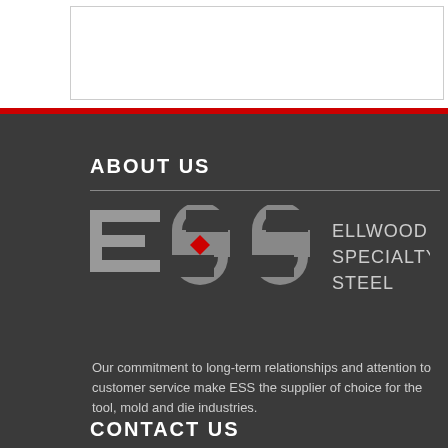ABOUT US
[Figure (logo): Ellwood Specialty Steel (ESS) logo with stylized letters E, S, S in gray and a red diamond accent, alongside text ELLWOOD SPECIALTY STEEL]
Our commitment to long-term relationships and attention to customer service make ESS the supplier of choice for the tool, mold and die industries.
CONTACT US